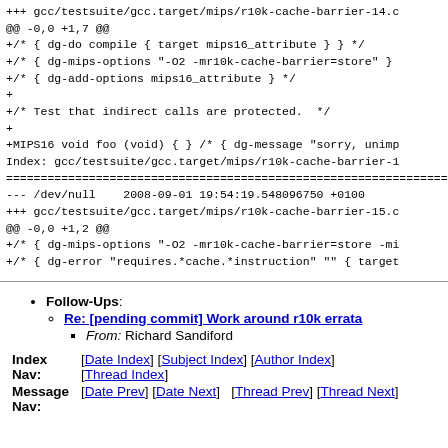+++ gcc/testsuite/gcc.target/mips/r10k-cache-barrier-14.c
@@ -0,0 +1,7 @@
+/* { dg-do compile { target mips16_attribute } } */
+/* { dg-mips-options "-O2 -mr10k-cache-barrier=store" }
+/* { dg-add-options mips16_attribute } */
+
+/* Test that indirect calls are protected.  */
+
+MIPS16 void foo (void) { } /* { dg-message "sorry, unimp
Index: gcc/testsuite/gcc.target/mips/r10k-cache-barrier-1
================================================================
--- /dev/null    2008-09-01 19:54:19.548096750 +0100
+++ gcc/testsuite/gcc.target/mips/r10k-cache-barrier-15.c
@@ -0,0 +1,2 @@
+/* { dg-mips-options "-O2 -mr10k-cache-barrier=store -mi
+/* { dg-error "requires.*cache.*instruction" "" { target
Follow-Ups: Re: [pending commit] Work around r10k errata — From: Richard Sandiford
|  |  |
| --- | --- |
| Index Nav: | [Date Index] [Subject Index] [Author Index] [Thread Index] |
| Message Nav: | [Date Prev] [Date Next]  [Thread Prev] [Thread Next] |